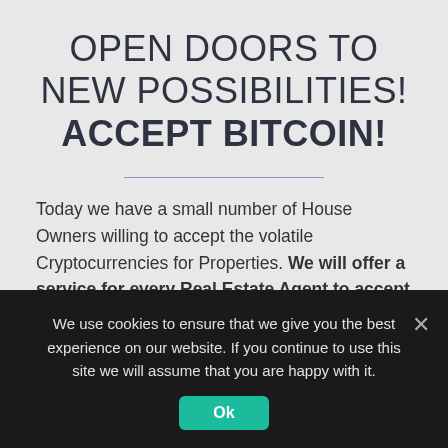OPEN DOORS TO NEW POSSIBILITIES! ACCEPT BITCOIN!
Today we have a small number of House Owners willing to accept the volatile Cryptocurrencies for Properties. We will offer a service for every Real Estate Agent to accept Bitcoin and get paid in Thai Baht.
The Customer can easily pay or swap his Coins into Real
We use cookies to ensure that we give you the best experience on our website. If you continue to use this site we will assume that you are happy with it.